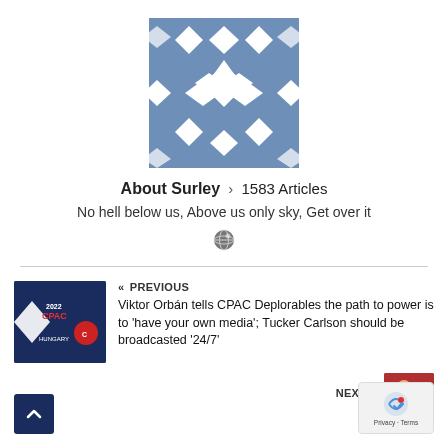[Figure (illustration): Blue geometric/kaleidoscopic pattern avatar image — square with diamond and star shapes on steel blue background]
About Surley > 1583 Articles
No hell below us, Above us only sky, Get over it
[Figure (illustration): Small globe/world icon in dark gray]
[Figure (photo): CPAC Hungary 2022 event logo/thumbnail — dark blue background with star and event branding]
« PREVIOUS
Viktor Orbán tells CPAC Deplorables the path to power is to 'have your own media'; Tucker Carlson should be broadcasted '24/7'
NEXT »
[Figure (photo): Small thumbnail photo — group of people, partial view]